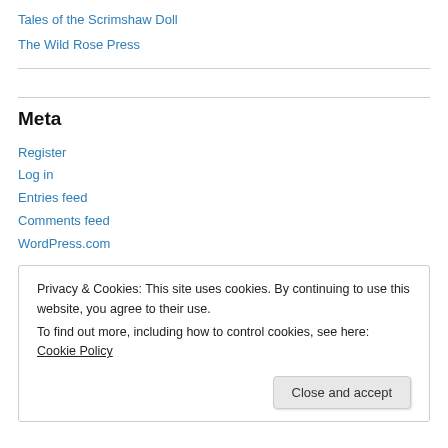Tales of the Scrimshaw Doll
The Wild Rose Press
Meta
Register
Log in
Entries feed
Comments feed
WordPress.com
Privacy & Cookies: This site uses cookies. By continuing to use this website, you agree to their use.
To find out more, including how to control cookies, see here: Cookie Policy
Close and accept